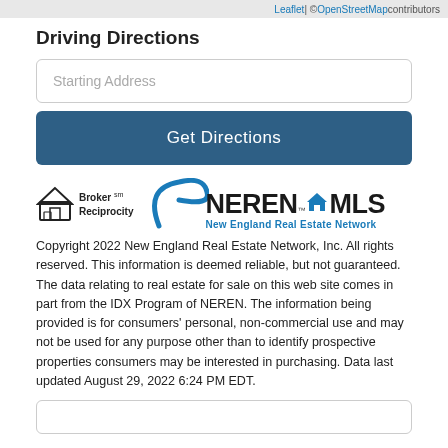Leaflet | © OpenStreetMap contributors
Driving Directions
Starting Address
Get Directions
[Figure (logo): Broker Reciprocity logo with house icon and text]
[Figure (logo): NEREN MLS - New England Real Estate Network logo]
Copyright 2022 New England Real Estate Network, Inc. All rights reserved. This information is deemed reliable, but not guaranteed. The data relating to real estate for sale on this web site comes in part from the IDX Program of NEREN. The information being provided is for consumers' personal, non-commercial use and may not be used for any purpose other than to identify prospective properties consumers may be interested in purchasing. Data last updated August 29, 2022 6:24 PM EDT.